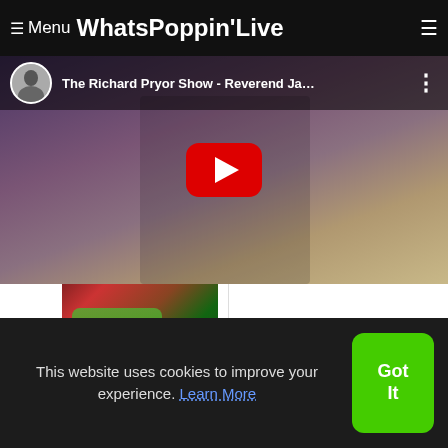≡ Menu WhatsPoppin'Live
[Figure (screenshot): YouTube video embed showing 'The Richard Pryor Show - Reverend Ja...' with a red play button in the center, avatar icon top left, and title text in the top bar]
[Figure (photo): Thumbnail image of a person in red jacket with green face paint, captioned 'Laugh Episode 129 By']
This website uses cookies to improve your experience. Learn More
Got It